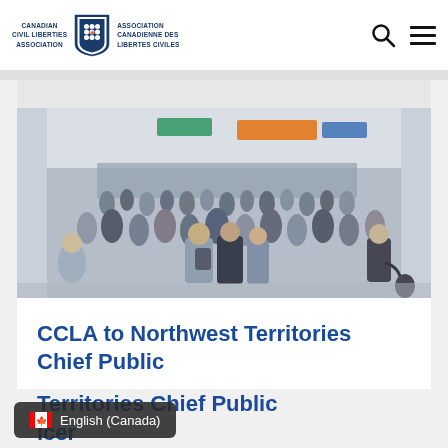Canadian Civil Liberties Association / Association Canadienne des Libertés Civiles
[Figure (photo): Crowd of people walking in a large indoor public space, such as a convention center or exhibition hall. People are in the foreground and background, captured in motion. There are colorful banners visible at the top of the image.]
CCLA to Northwest Territories Chief Public [Health] Officer